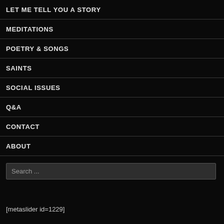LET ME TELL YOU A STORY
MEDITATIONS
POETRY & SONGS
SAINTS
SOCIAL ISSUES
Q&A
CONTACT
ABOUT
Search ...
[metaslider id=1229]